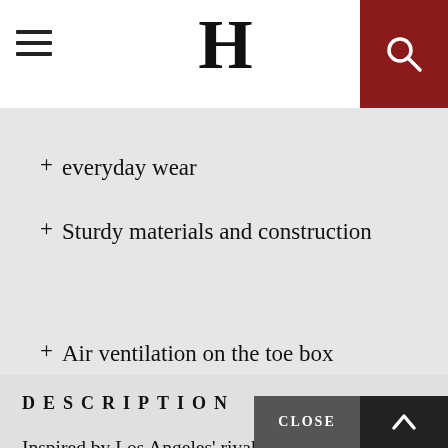H
+ everyday wear
+ Sturdy materials and construction
+ Air ventilation on the toe box
DESCRIPTION
Inspired by Los Angeles' rival gangs, Bloods and Crips, Kendrick Lamar, with designer Ian Paley, collaborates with Reebok to introduce an original "Split" design footwear that looks elegantly sleek– royal blue on one side and university red on the other. With the finest light grey suede body, white and dark grey midsole, and rubber outsole